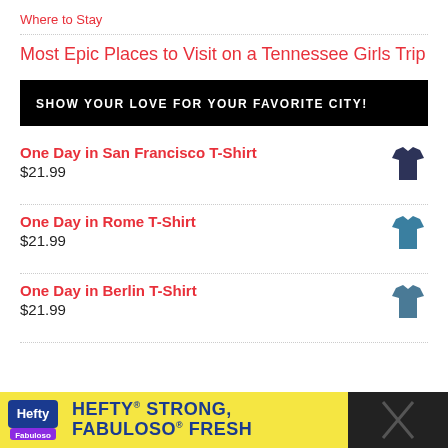Where to Stay
Most Epic Places to Visit on a Tennessee Girls Trip
[Figure (infographic): Black banner with white bold text: SHOW YOUR LOVE FOR YOUR FAVORITE CITY!]
One Day in San Francisco T-Shirt
$21.99
One Day in Rome T-Shirt
$21.99
One Day in Berlin T-Shirt
$21.99
[Figure (infographic): Advertisement banner: Hefty STRONG, FABULOSO FRESH with Hefty and Fabuloso logos on yellow/gold background]